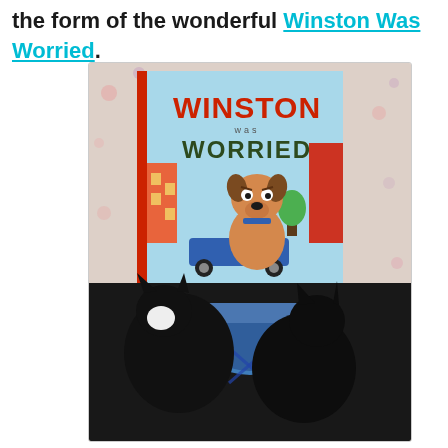the form of the wonderful Winston Was Worried.
[Figure (photo): Two black cats sitting in a blue bowl in front of the children's book 'Winston Was Worried', placed on a floral bedspread background.]